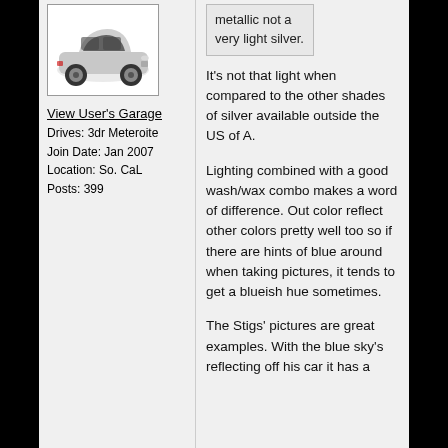[Figure (photo): Silver compact SUV car image inside a bordered box]
View User's Garage
Drives: 3dr Meteroite
Join Date: Jan 2007
Location: So. CaL
Posts: 399
metallic not a very light silver.
It's not that light when compared to the other shades of silver available outside the US of A.
Lighting combined with a good wash/wax combo makes a word of difference. Out color reflect other colors pretty well too so if there are hints of blue around when taking pictures, it tends to get a blueish hue sometimes.
The Stigs' pictures are great examples. With the blue sky's reflecting off his car it has a